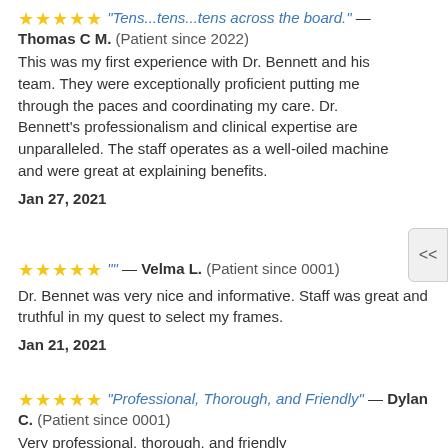"Tens...tens...tens across the board." — Thomas C M. (Patient since 2022) This was my first experience with Dr. Bennett and his team. They were exceptionally proficient putting me through the paces and coordinating my care. Dr. Bennett's professionalism and clinical expertise are unparalleled. The staff operates as a well-oiled machine and were great at explaining benefits.
Jan 27, 2021
"" — Velma L. (Patient since 0001) Dr. Bennet was very nice and informative. Staff was great and truthful in my quest to select my frames.
Jan 21, 2021
"Professional, Thorough, and Friendly" — Dylan C. (Patient since 0001) Very professional, thorough, and friendly